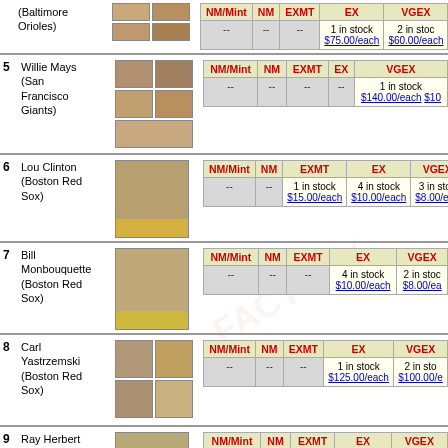| # | Player | Image | NM/Mint | NM | EXMT | EX | VGEX |
| --- | --- | --- | --- | --- | --- | --- | --- |
|  | (Baltimore Orioles) |  | -- | -- | -- | 1 in stock $75.00/each | 2 in stock $60.00/each |
| 5 | Willie Mays (San Francisco Giants) |  | -- | -- | -- | -- | 1 in stock $140.00/each |
| 6 | Lou Clinton (Boston Red Sox) |  | -- | -- | 1 in stock $15.00/each | 4 in stock $10.00/each | 3 in stock $8.00/each |
| 7 | Bill Monbouquette (Boston Red Sox) |  | -- | -- | -- | 4 in stock $10.00/each | 2 in stock $8.00/each |
| 8 | Carl Yastrzemski (Boston Red Sox) |  | -- | -- | -- | 1 in stock $125.00/each | 2 in stock $100.00/each |
| 9 | Ray Herbert (Chicago White Sox) |  |  |  |  | 5 in stock | 1 in stock |